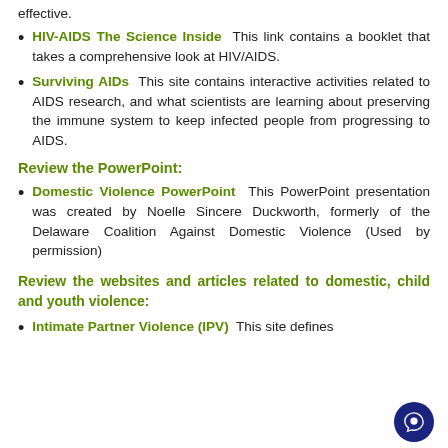effective.
HIV-AIDS The Science Inside  This link contains a booklet that takes a comprehensive look at HIV/AIDS.
Surviving AIDs  This site contains interactive activities related to AIDS research, and what scientists are learning about preserving the immune system to keep infected people from progressing to AIDS.
Review the PowerPoint:
Domestic Violence PowerPoint  This PowerPoint presentation was created by Noelle Sincere Duckworth, formerly of the Delaware Coalition Against Domestic Violence (Used by permission)
Review the websites and articles related to domestic, child and youth violence:
Intimate Partner Violence (IPV)  This site defines...